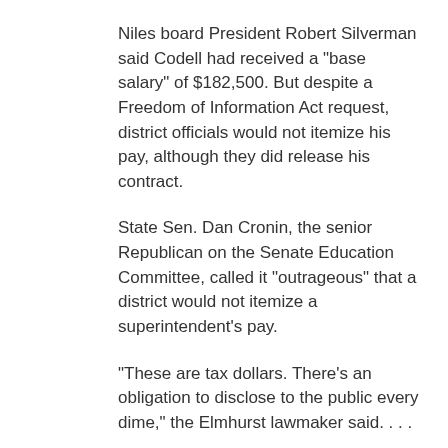Niles board President Robert Silverman said Codell had received a "base salary" of $182,500. But despite a Freedom of Information Act request, district officials would not itemize his pay, although they did release his contract.
State Sen. Dan Cronin, the senior Republican on the Senate Education Committee, called it "outrageous" that a district would not itemize a superintendent's pay.
"These are tax dollars. There's an obligation to disclose to the public every dime," the Elmhurst lawmaker said. . . .
John Lott at 12:19 PM   No comments:
Arlen Specter and Susan Collins say